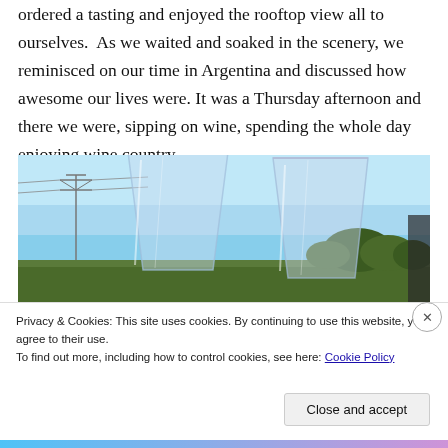ordered a tasting and enjoyed the rooftop view all to ourselves.  As we waited and soaked in the scenery, we reminisced on our time in Argentina and discussed how awesome our lives were. It was a Thursday afternoon and there we were, sipping on wine, spending the whole day enjoying wine country.
[Figure (photo): Two large stemless wine glasses held up against a bright blue sky, with green trees and a power line tower visible in the background, outdoor vineyard scene.]
Privacy & Cookies: This site uses cookies. By continuing to use this website, you agree to their use.
To find out more, including how to control cookies, see here: Cookie Policy